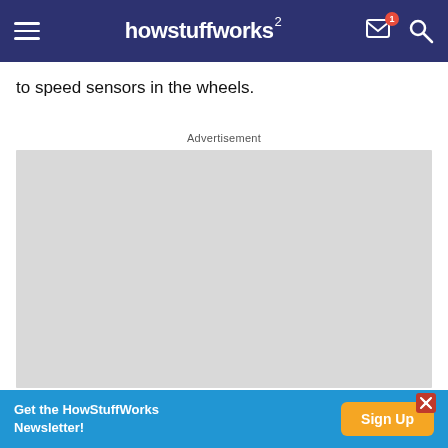howstuffworks
to speed sensors in the wheels.
Advertisement
[Figure (other): Gray advertisement placeholder box]
Get the HowStuffWorks Newsletter! Sign Up